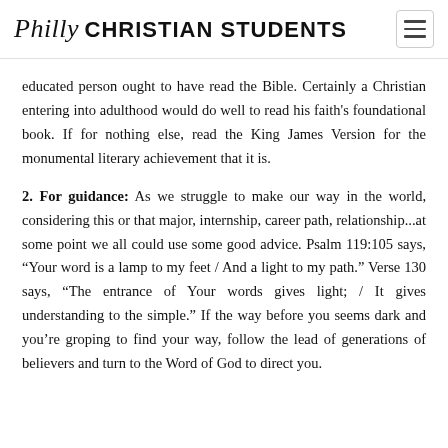Philly CHRISTIAN STUDENTS
educated person ought to have read the Bible. Certainly a Christian entering into adulthood would do well to read his faith's foundational book. If for nothing else, read the King James Version for the monumental literary achievement that it is.
2. For guidance: As we struggle to make our way in the world, considering this or that major, internship, career path, relationship...at some point we all could use some good advice. Psalm 119:105 says, “Your word is a lamp to my feet / And a light to my path.” Verse 130 says, “The entrance of Your words gives light; / It gives understanding to the simple.” If the way before you seems dark and you’re groping to find your way, follow the lead of generations of believers and turn to the Word of God to direct you.